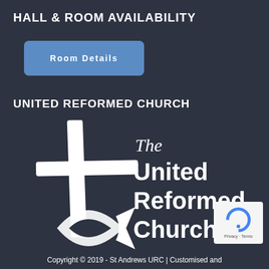HALL & ROOM AVAILABILITY
Room Details
UNITED REFORMED CHURCH
[Figure (logo): United Reformed Church logo — stylized white cross with fish symbol below, alongside text reading 'The United Reformed Church' in white on dark background]
[Figure (other): reCAPTCHA badge with Privacy and Terms text]
Copyright © 2019 - St Andrews URC | Customised and